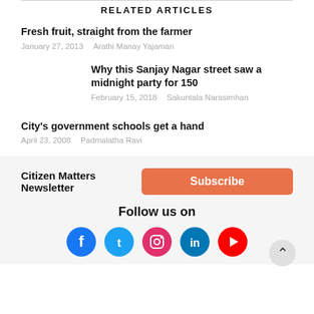RELATED ARTICLES
Fresh fruit, straight from the farmer
January 27, 2013   Arathi Manay Yajaman
Why this Sanjay Nagar street saw a midnight party for 150
February 15, 2018   Sakuntala Narasimhan
City's government schools get a hand
April 23, 2008   Padmalatha Ravi
Citizen Matters Newsletter
Subscribe
Follow us on